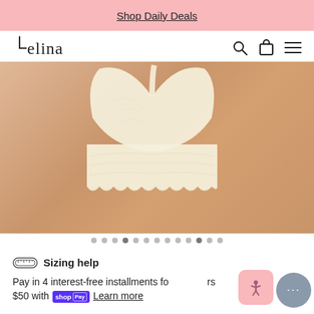Shop Daily Deals
[Figure (logo): Felina brand logo with stylized bracket F]
[Figure (photo): Model wearing cream/ivory lace bandeau bralette, back and side view showing the lace trim detail]
Sizing help
Pay in 4 interest-free installments for orders over $50 with shop Pay Learn more